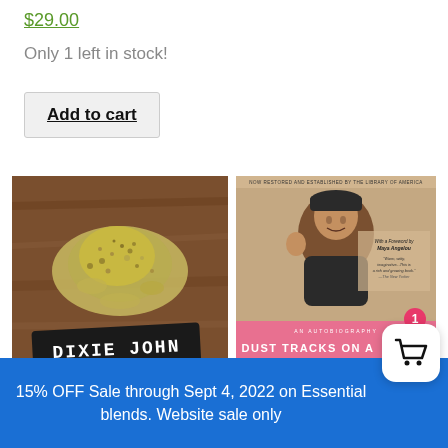$29.00
Only 1 left in stock!
Add to cart
[Figure (photo): Dried herb blend on wooden surface with a dark label reading 'DIXIE JOHN' in hand-lettered white text]
[Figure (photo): Book cover for 'Dust Tracks on a Road' autobiography, with sepia photo of a smiling woman waving, pink bottom section, and text 'With a Foreword by Maya Angelou']
15% OFF Sale through Sept 4, 2022 on Essential blends. Website sale only